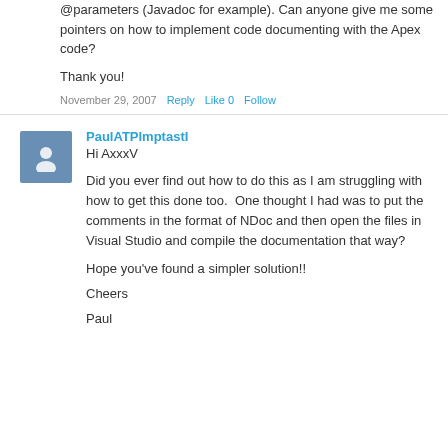@parameters (Javadoc for example). Can anyone give me some pointers on how to implement code documenting with the Apex code?
Thank you!
November 29, 2007   Reply   Like 0   Follow
PaulATPImptastI
Hi AxxxV
Did you ever find out how to do this as I am struggling with how to get this done too.  One thought I had was to put the comments in the format of NDoc and then open the files in Visual Studio and compile the documentation that way?
Hope you've found a simpler solution!!
Cheers
Paul